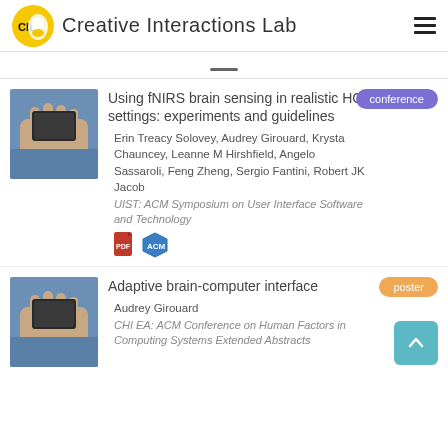Creative Interactions Lab
[Figure (photo): Hand holding a small black device, person wearing blue shirt]
Using fNIRS brain sensing in realistic HCI settings: experiments and guidelines
conference
Erin Treacy Solovey, Audrey Girouard, Krysta Chauncey, Leanne M Hirshfield, Angelo Sassaroli, Feng Zheng, Sergio Fantini, Robert JK Jacob
UIST: ACM Symposium on User Interface Software and Technology
[Figure (photo): Hand holding a small black device, person wearing blue shirt]
Adaptive brain-computer interface
poster
Audrey Girouard
CHI EA: ACM Conference on Human Factors in Computing Systems Extended Abstracts